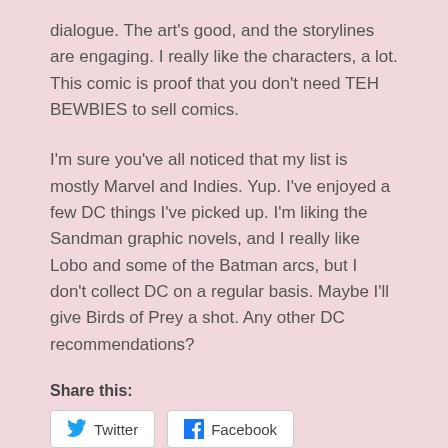dialogue.  The art's good, and the storylines are engaging.  I really like the characters, a lot.  This comic is proof that you don't need TEH BEWBIES to sell comics.
I'm sure you've all noticed that my list is mostly Marvel and Indies.  Yup.  I've enjoyed a few DC things I've picked up.  I'm liking the Sandman graphic novels, and I really like Lobo and some of the Batman arcs, but I don't collect DC on a regular basis.  Maybe I'll give Birds of Prey a shot.  Any other DC recommendations?
Share this:
[Figure (other): Share buttons for Twitter and Facebook with icons]
Loading...